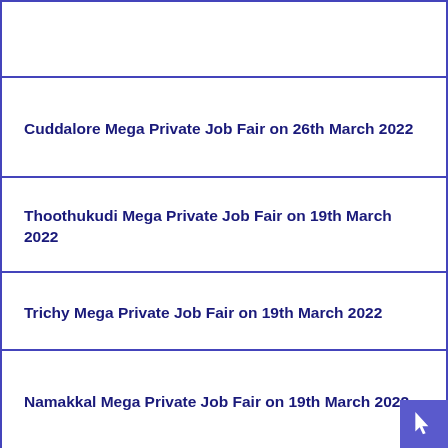Cuddalore Mega Private Job Fair on 26th March 2022
Thoothukudi Mega Private Job Fair on 19th March 2022
Trichy Mega Private Job Fair on 19th March 2022
Namakkal Mega Private Job Fair on 19th March 2022
Salem Mega Private Job Fair on 6th March 2022 at CSI Polytechnic College
Chennai Mega Private Job Fair on 12th & 13th